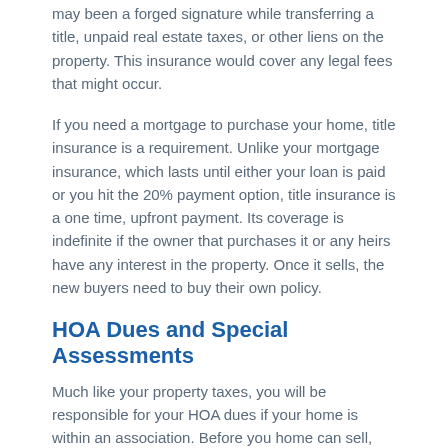may been a forged signature while transferring a title, unpaid real estate taxes, or other liens on the property. This insurance would cover any legal fees that might occur.
If you need a mortgage to purchase your home, title insurance is a requirement. Unlike your mortgage insurance, which lasts until either your loan is paid or you hit the 20% payment option, title insurance is a one time, upfront payment. Its coverage is indefinite if the owner that purchases it or any heirs have any interest in the property. Once it sells, the new buyers need to buy their own policy.
HOA Dues and Special Assessments
Much like your property taxes, you will be responsible for your HOA dues if your home is within an association. Before you home can sell, the balance will have to be zeroed out before a new owner can take over and any liens on the property are satisfied.